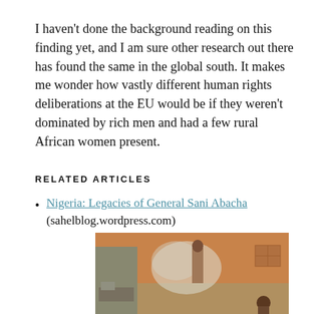I haven't done the background reading on this finding yet, and I am sure other research out there has found the same in the global south. It makes me wonder how vastly different human rights deliberations at the EU would be if they weren't dominated by rich men and had a few rural African women present.
RELATED ARTICLES
Nigeria: Legacies of General Sani Abacha (sahelblog.wordpress.com)
[Figure (photo): A photograph of a rural African scene showing people near a building with smoke visible, appears to be an outdoor cooking or fire situation.]